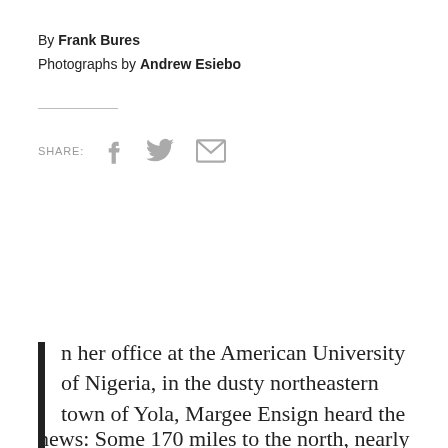By Frank Bures
Photographs by Andrew Esiebo
[Figure (other): Social share icons: Facebook, Twitter, Email]
In her office at the American University of Nigeria, in the dusty northeastern town of Yola, Margee Ensign heard the news: Some 170 miles to the north, nearly